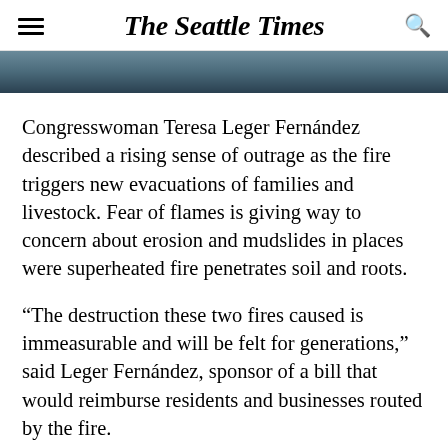The Seattle Times
[Figure (photo): Partial image strip at top of article, dark toned photograph]
Congresswoman Teresa Leger Fernández described a rising sense of outrage as the fire triggers new evacuations of families and livestock. Fear of flames is giving way to concern about erosion and mudslides in places were superheated fire penetrates soil and roots.
“The destruction these two fires caused is immeasurable and will be felt for generations,” said Leger Fernández, sponsor of a bill that would reimburse residents and businesses routed by the fire.
The Forest Service has not yet released detailed